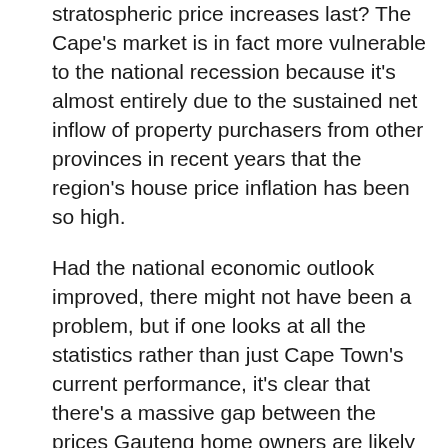stratospheric price increases last? The Cape's market is in fact more vulnerable to the national recession because it's almost entirely due to the sustained net inflow of property purchasers from other provinces in recent years that the region's house price inflation has been so high.
Had the national economic outlook improved, there might not have been a problem, but if one looks at all the statistics rather than just Cape Town's current performance, it's clear that there's a massive gap between the prices Gauteng home owners are likely to realise if they sell, and how much they'll be able to afford in the Cape's current market.
At the moment, you get roughly twice the house upcountry than you do in Cape Town on an equivalent spend. Put simply, Cape property is fast becoming an investment domain that's unaffordable to all but the wealthy. Cape Town prices across the board are on the top band the Nation chief fo...